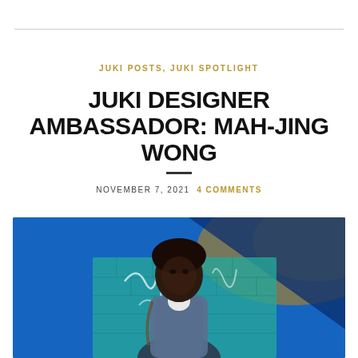JUKI POSTS, JUKI SPOTLIGHT
JUKI DESIGNER AMBASSADOR: MAH-JING WONG
NOVEMBER 7, 2021  4 COMMENTS
[Figure (photo): Promotional photo for Juki Designer Ambassador Mah-Jing Wong. Blue background with Juki logo in top left. A young Black man wearing a denim jacket stands in front of a teal graffiti brick wall. Dark blue diagonal shape in upper right corner with warm bokeh effect.]